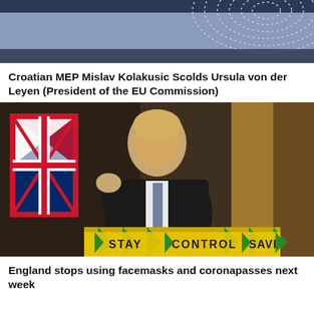[Figure (photo): Top portion of a photo showing a blue background with a circular EU Parliament hemicycle pattern in gray]
Croatian MEP Mislav Kolakusic Scolds Ursula von der Leyen (President of the EU Commission)
[Figure (photo): Boris Johnson standing at a podium with a yellow and green sign reading 'STAY CONTROL SAVE', with a UK flag visible in the background]
England stops using facemasks and coronapasses next week